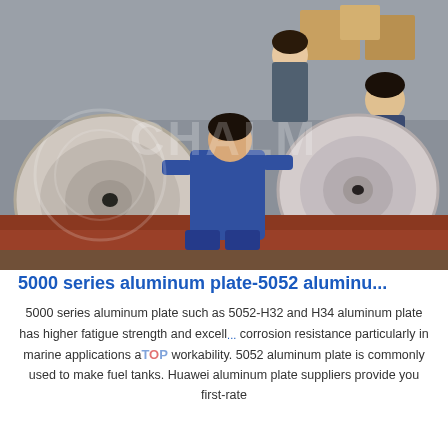[Figure (photo): Workers in a factory/warehouse setting handling large aluminum coils or rolls. A woman in a blue uniform sits in the foreground near a large coil, while two other workers are visible in the background. A watermark reading 'CHALM' or similar is overlaid on the image. The floor is partially covered with a red mat.]
5000 series aluminum plate-5052 aluminu...
5000 series aluminum plate such as 5052-H32 and H34 aluminum plate has higher fatigue strength and excellent corrosion resistance particularly in marine applications and its workability. 5052 aluminum plate is commonly used to make fuel tanks. Huawei aluminum plate suppliers provide you first-rate